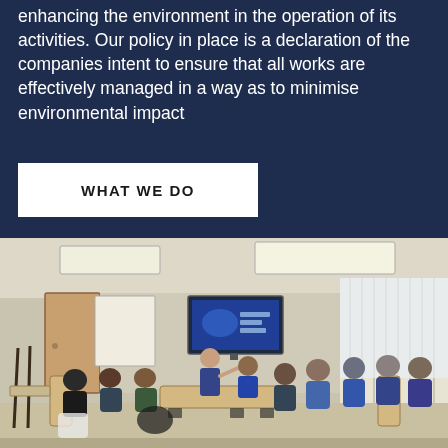enhancing the environment in the operation of its activities. Our policy in place is a declaration of the companies intent to ensure that all works are effectively managed in a way as to minimise environmental impact
WHAT WE DO
[Figure (photo): A group of people sitting around tables arranged in a U-shape in a conference/training room. A presenter stands at the front near a large flat-screen TV showing a presentation. A whiteboard is visible on the left. Venetian blinds cover windows on the right. People are engaged in discussion.]